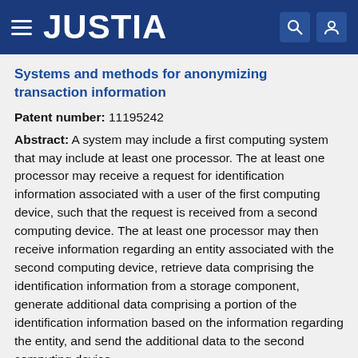JUSTIA
Systems and methods for anonymizing transaction information
Patent number: 11195242
Abstract: A system may include a first computing system that may include at least one processor. The at least one processor may receive a request for identification information associated with a user of the first computing device, such that the request is received from a second computing device. The at least one processor may then receive information regarding an entity associated with the second computing device, retrieve data comprising the identification information from a storage component, generate additional data comprising a portion of the identification information based on the information regarding the entity, and send the additional data to the second computing device.